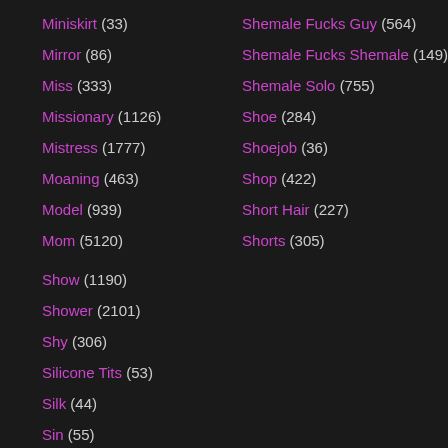Miniskirt (33)
Mirror (86)
Miss (333)
Missionary (1126)
Mistress (1777)
Moaning (463)
Model (939)
Mom (5120)
Show (1190)
Shower (2101)
Shy (306)
Silicone Tits (53)
Silk (44)
Sin (55)
Sissy (701)
Shemale Fucks Guy (564)
Shemale Fucks Shemale (149)
Shemale Solo (755)
Shoe (284)
Shoejob (36)
Shop (422)
Short Hair (227)
Shorts (305)